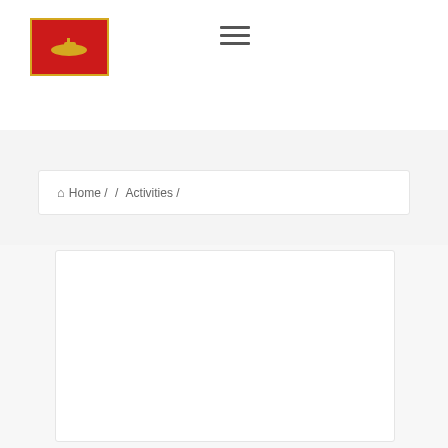[Figure (logo): Red background logo with yellow border and yellow submarine/boat emblem]
[Figure (other): Hamburger menu icon with three horizontal lines]
Home / / Activities /